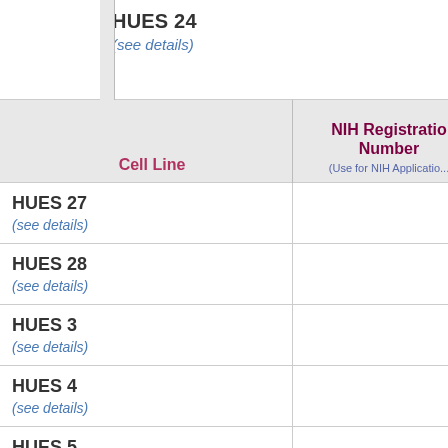HUES 24
(see details)
| Cell Line | NIH Registration Number (Use for NIH Applications) |
| --- | --- |
| HUES 27
(see details) |  |
| HUES 28
(see details) |  |
| HUES 3
(see details) |  |
| HUES 4
(see details) |  |
| HUES 5
(see details) |  |